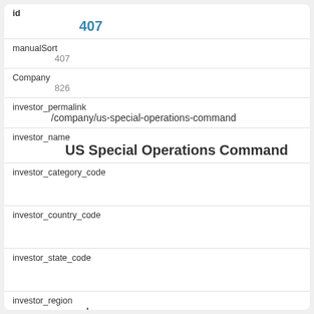id
407
manualSort
407
Company
826
investor_permalink
/company/us-special-operations-command
investor_name
US Special Operations Command
investor_category_code
investor_country_code
investor_state_code
investor_region
unknown
investor_city